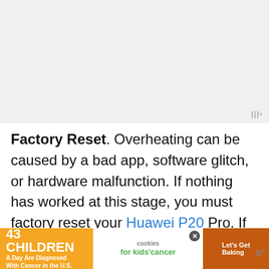[Figure (other): Video or image placeholder area with light gray background and a small Wired logo watermark in the bottom-right corner]
Factory Reset. Overheating can be caused by a bad app, software glitch, or hardware malfunction. If nothing has worked at this stage, you must factory reset your Huawei P20 Pro. If overheating goes away after factory reset
[Figure (other): Advertisement banner: '43 CHILDREN A Day Are Diagnosed With Cancer in the U.S.' with cookies for kids cancer and Let's Get Baking sections]